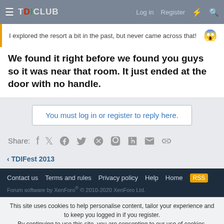TDICLUB — Log in  Register
I explored the resort a bit in the past, but never came across that! 😱
We found it right before we found you guys so it was near that room. It just ended at the door with no handle.
You must log in or register to reply here.
Share:
< TDIFest 2013
Contact us  Terms and rules  Privacy policy  Help  Home  [RSS]  Forum software by XenForo® © 2010-2020 XenForo Ltd.
This site uses cookies to help personalise content, tailor your experience and to keep you logged in if you register. By continuing to use this site, you are consenting to our use of cookies.